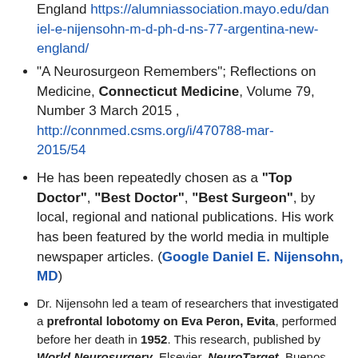England https://alumniassociation.mayo.edu/daniel-e-nijensohn-m-d-ph-d-ns-77-argentina-new-england/
"A Neurosurgeon Remembers"; Reflections on Medicine, Connecticut Medicine, Volume 79, Number 3 March 2015, http://connmed.csms.org/i/470788-mar-2015/54
He has been repeatedly chosen as a "Top Doctor", "Best Doctor", "Best Surgeon", by local, regional and national publications. His work has been featured by the world media in multiple newspaper articles. (Google Daniel E. Nijensohn, MD)
Dr. Nijensohn led a team of researchers that investigated a prefrontal lobotomy on Eva Peron, Evita, performed before her death in 1952. This research, published by World Neurosurgery, Elsevier, NeuroTarget, Buenos